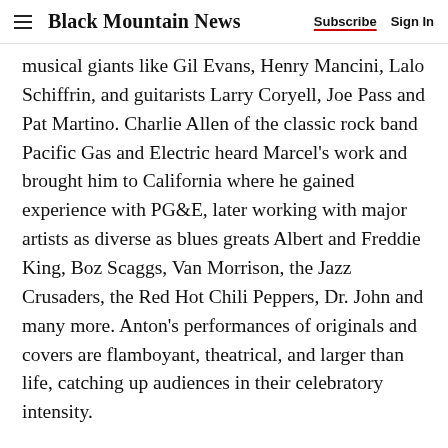Black Mountain News | Subscribe | Sign In
musical giants like Gil Evans, Henry Mancini, Lalo Schiffrin, and guitarists Larry Coryell, Joe Pass and Pat Martino. Charlie Allen of the classic rock band Pacific Gas and Electric heard Marcel's work and brought him to California where he gained experience with PG&E, later working with major artists as diverse as blues greats Albert and Freddie King, Boz Scaggs, Van Morrison, the Jazz Crusaders, the Red Hot Chili Peppers, Dr. John and many more. Anton's performances of originals and covers are flamboyant, theatrical, and larger than life, catching up audiences in their celebratory intensity.
Advertisement